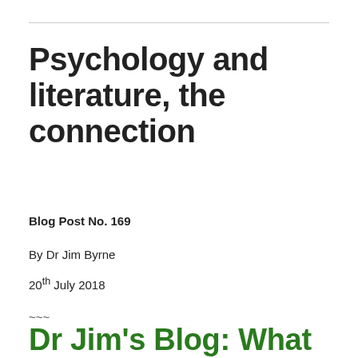Psychology and literature, the connection
Blog Post No. 169
By Dr Jim Byrne
20th July 2018
~~~
Dr Jim's Blog: What are